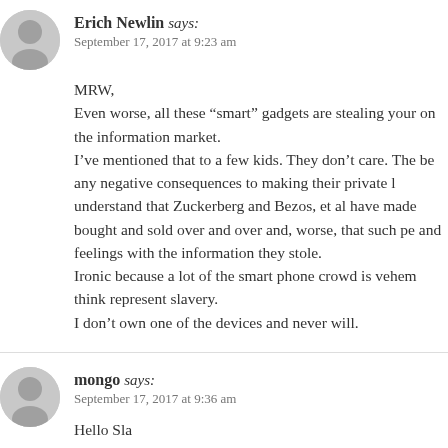Erich Newlin says:
September 17, 2017 at 9:23 am
MRW,
Even worse, all these “smart” gadgets are stealing your on the information market.
I’ve mentioned that to a few kids. They don’t care. The be any negative consequences to making their private l understand that Zuckerberg and Bezos, et al have made bought and sold over and over and, worse, that such pe and feelings with the information they stole.
Ironic because a lot of the smart phone crowd is vehem think represent slavery.
I don’t own one of the devices and never will.
mongo says:
September 17, 2017 at 9:36 am
Hello Sla...